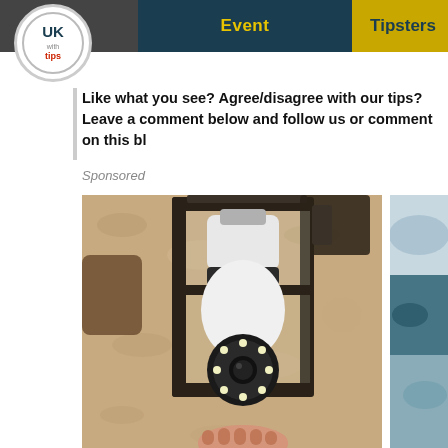Event | Tipsters
[Figure (logo): UK Tips circular logo with white background]
Like what you see? Agree/disagree with our tips?
Leave a comment below and follow us or comment on this bl
Sponsored
[Figure (photo): Security camera light bulb being installed in an outdoor wall lamp fixture on a textured stone/stucco wall]
[Figure (photo): Partial image on right side showing blue/grey reflective water surface]